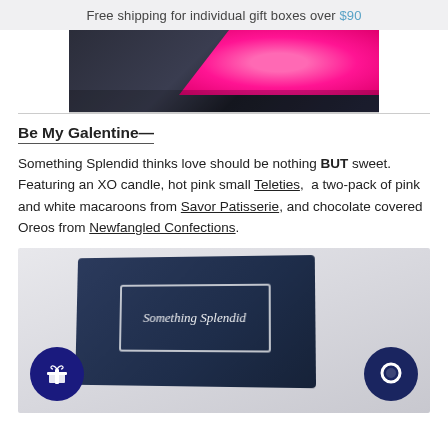Free shipping for individual gift boxes over $90
[Figure (photo): Top-down view of a dark navy gift box open with hot pink crinkle paper shredding inside, on a light background]
Be My Galentine—
Something Splendid thinks love should be nothing BUT sweet. Featuring an XO candle, hot pink small Teleties, a two-pack of pink and white macaroons from Savor Patisserie, and chocolate covered Oreos from Newfangled Confections.
[Figure (photo): Dark navy gift box with 'Something Splendid' script logo in white neon-style text inside a rectangular border, on a light gray background. A dark blue gift icon button is at bottom-left and a dark blue chat bubble icon button is at bottom-right.]